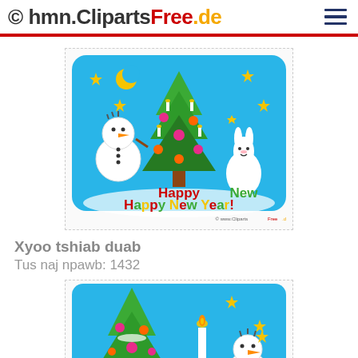© hmn.ClipartsFree.de
[Figure (illustration): Happy New Year clipart: snowman, Christmas tree with candles and ornaments, white rabbit, stars, moon, on blue background with 'Happy New Year!' text and copyright watermark]
Xyoo tshiab duab
Tus naj npawb: 1432
[Figure (illustration): Second New Year clipart: Christmas tree with ornaments and candles, snowman with carrot nose, stars, on blue background — cropped/partial view]